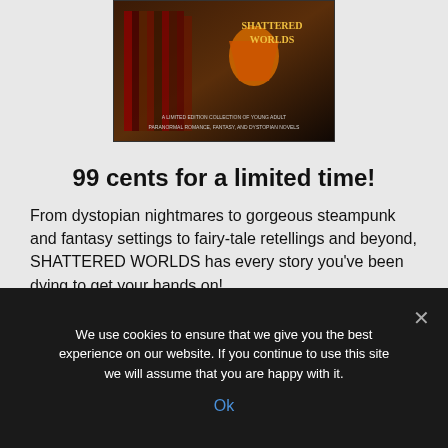[Figure (illustration): Book cover for 'SHATTERED WORLDS' — a limited edition collection of young adult paranormal romance, fantasy, and dystopian novels, showing a row of book spines and a figure in a hooded cloak on a dark, dramatic background.]
99 cents for a limited time!
From dystopian nightmares to gorgeous steampunk and fantasy settings to fairy-tale retellings and beyond, SHATTERED WORLDS has every story you’ve been dying to get your hands on!
We use cookies to ensure that we give you the best experience on our website. If you continue to use this site we will assume that you are happy with it.
Ok